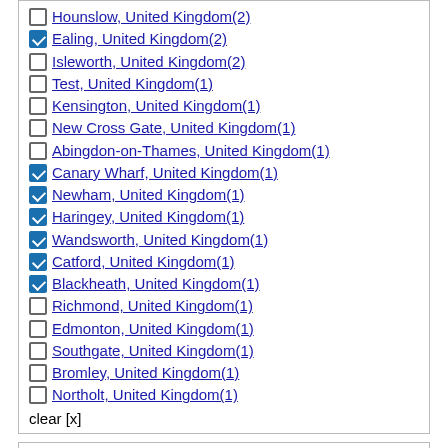Hounslow, United Kingdom(2)
Ealing, United Kingdom(2)
Isleworth, United Kingdom(2)
Test, United Kingdom(1)
Kensington, United Kingdom(1)
New Cross Gate, United Kingdom(1)
Abingdon-on-Thames, United Kingdom(1)
Canary Wharf, United Kingdom(1)
Newham, United Kingdom(1)
Haringey, United Kingdom(1)
Wandsworth, United Kingdom(1)
Catford, United Kingdom(1)
Blackheath, United Kingdom(1)
Richmond, United Kingdom(1)
Edmonton, United Kingdom(1)
Southgate, United Kingdom(1)
Bromley, United Kingdom(1)
Northolt, United Kingdom(1)
clear [x]
Facilities
24 hour security(0)
24h reception(0)